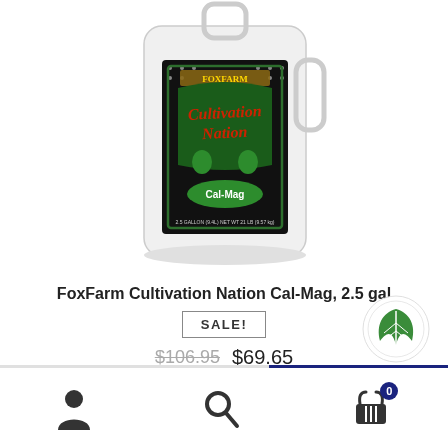[Figure (photo): FoxFarm Cultivation Nation Cal-Mag 2.5 gallon white jug with black label featuring green and red decorative design]
FoxFarm Cultivation Nation Cal-Mag, 2.5 gal
SALE!
$106.95  $69.65
[Figure (logo): Green leaf logo badge (circular, white background with green leaf icon)]
[Figure (other): Bottom navigation bar with person icon, search icon, and cart icon with badge showing 0]